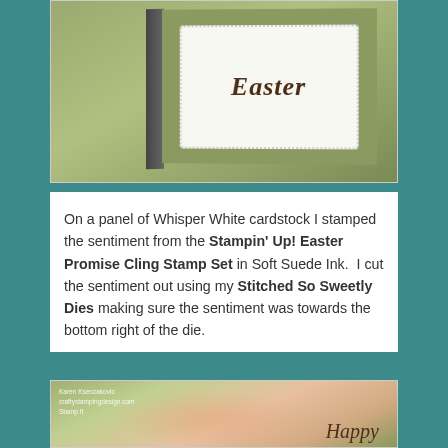[Figure (photo): Photo of an Easter card standing upright on green cardstock background, showing a white panel with scalloped edge and cursive 'Easter' text in brown ink]
On a panel of Whisper White cardstock I stamped the sentiment from the Stampin' Up! Easter Promise Cling Stamp Set in Soft Suede Ink.  I cut the sentiment out using my Stitched So Sweetly Dies making sure the sentiment was towards the bottom right of the die.
[Figure (photo): Photo of a Happy Easter card with peach cherry blossom flowers and green leaves on a green cardstock background, with 'Happy' written in cursive brown ink at the bottom right. Watermark reads Karen Ksenzakovic craftystampingdesign.com Stamp It.]